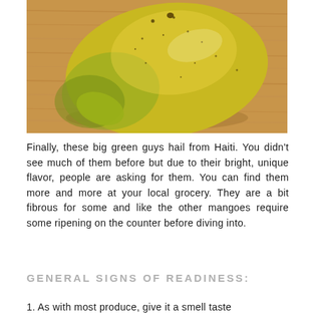[Figure (photo): A close-up photograph of a large yellow-green mango resting on a wooden cutting board surface. The mango has small dark speckles on its skin and shows a characteristic oval-oblong shape with a slight hook at the bottom.]
Finally, these big green guys hail from Haiti. You didn't see much of them before but due to their bright, unique flavor, people are asking for them. You can find them more and more at your local grocery. They are a bit fibrous for some and like the other mangoes require some ripening on the counter before diving into.
GENERAL SIGNS OF READINESS:
1. As with most produce, give it a smell taste